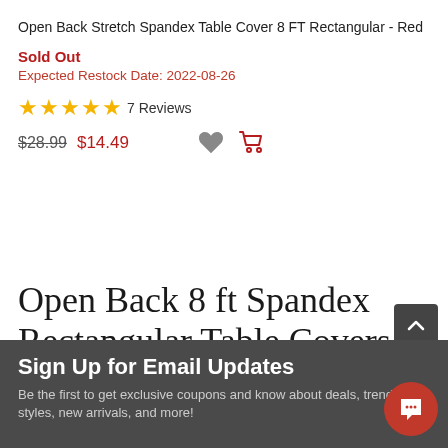Open Back Stretch Spandex Table Cover 8 FT Rectangular - Red
Sold Out
Expected Restock Date: 2022-08-26
★★★★★ 7 Reviews
$28.99  $14.49
Open Back 8 ft Spandex Rectangular Table Covers
Sign Up for Email Updates
Be the first to get exclusive coupons and know about deals, trending styles, new arrivals, and more!